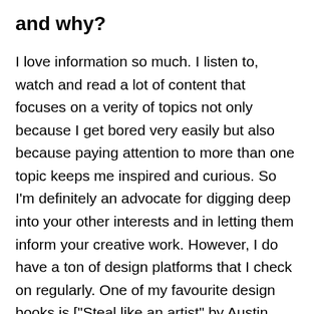and why?
I love information so much. I listen to, watch and read a lot of content that focuses on a verity of topics not only because I get bored very easily but also because paying attention to more than one topic keeps me inspired and curious. So I'm definitely an advocate for digging deep into your other interests and in letting them inform your creative work. However, I do have a ton of design platforms that I check on regularly. One of my favourite design books is ["Steal like an artist" by Austin Kleon[(https://austinkleon.com/steal/). This book changed the way I view my work and it